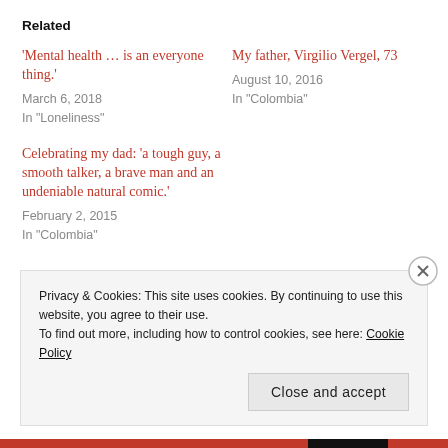Related
'Mental health … is an everyone thing.'
March 6, 2018
In "Loneliness"
My father, Virgilio Vergel, 73
August 10, 2016
In "Colombia"
Celebrating my dad: 'a tough guy, a smooth talker, a brave man and an undeniable natural comic.'
February 2, 2015
In "Colombia"
Privacy & Cookies: This site uses cookies. By continuing to use this website, you agree to their use.
To find out more, including how to control cookies, see here: Cookie Policy
Close and accept